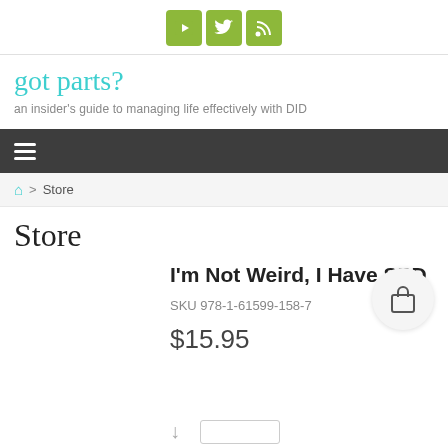[Figure (screenshot): Social media icon buttons: YouTube, Twitter, RSS feed — olive green square buttons with white icons]
got parts?
an insider's guide to managing life effectively with DID
Navigation bar with hamburger menu icon
Home > Store
Store
I'm Not Weird, I Have SPD
SKU 978-1-61599-158-7
$15.95